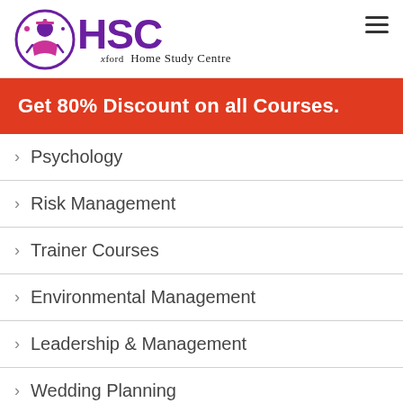[Figure (logo): HSC Oxford Home Study Centre logo with circular icon of a graduation figure]
Get 80% Discount on all Courses.
> Psychology
> Risk Management
> Trainer Courses
> Environmental Management
> Leadership & Management
> Wedding Planning
> Facilities Management